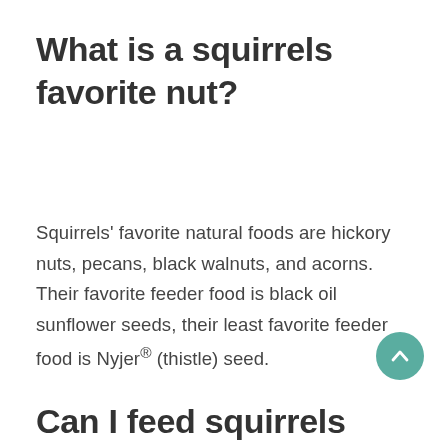What is a squirrels favorite nut?
Squirrels' favorite natural foods are hickory nuts, pecans, black walnuts, and acorns. Their favorite feeder food is black oil sunflower seeds, their least favorite feeder food is Nyjer® (thistle) seed.
Can I feed squirrels